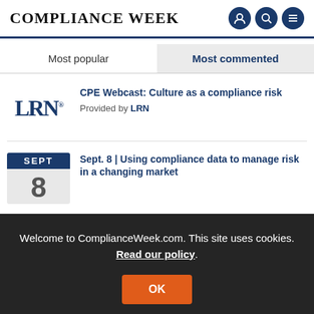COMPLIANCE WEEK
Most popular
Most commented
[Figure (logo): LRN logo in dark blue serif letters]
CPE Webcast: Culture as a compliance risk
Provided by LRN
[Figure (illustration): Calendar icon showing SEPT 8]
Sept. 8 | Using compliance data to manage risk in a changing market
Welcome to ComplianceWeek.com. This site uses cookies. Read our policy. OK